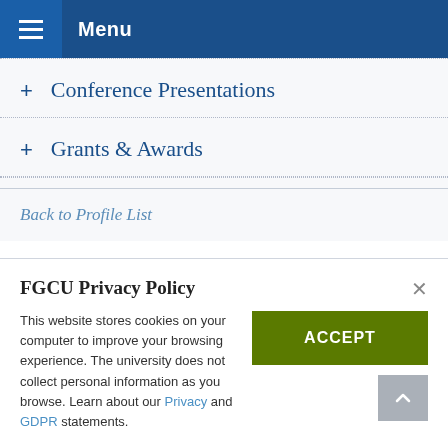Menu
+ Conference Presentations
+ Grants & Awards
Back to Profile List
FGCU Privacy Policy
This website stores cookies on your computer to improve your browsing experience. The university does not collect personal information as you browse. Learn about our Privacy and GDPR statements.